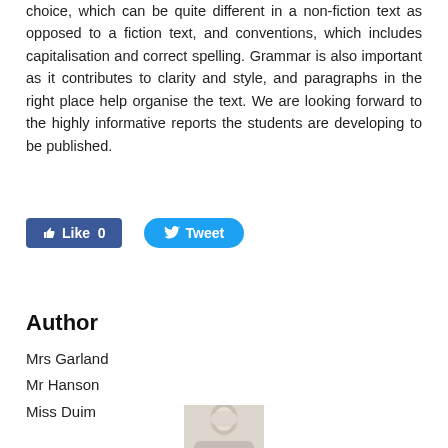choice, which can be quite different in a non-fiction text as opposed to a fiction text, and conventions, which includes capitalisation and correct spelling. Grammar is also important as it contributes to clarity and style, and paragraphs in the right place help organise the text. We are looking forward to the highly informative reports the students are developing to be published.
[Figure (screenshot): Social media buttons: Facebook Like button showing '0' likes and a Twitter Tweet button]
1 Comment
Author
Mrs Garland
Mr Hanson
Miss Duim
[Figure (photo): Portrait photo of a blonde woman, partially visible at bottom of page]